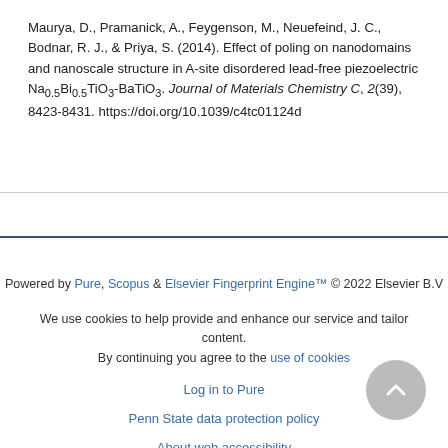Maurya, D., Pramanick, A., Feygenson, M., Neuefeind, J. C., Bodnar, R. J., & Priya, S. (2014). Effect of poling on nanodomains and nanoscale structure in A-site disordered lead-free piezoelectric Na0.5Bi0.5TiO3-BaTiO3. Journal of Materials Chemistry C, 2(39), 8423-8431. https://doi.org/10.1039/c4tc01124d
Powered by Pure, Scopus & Elsevier Fingerprint Engine™ © 2022 Elsevier B.V
We use cookies to help provide and enhance our service and tailor content. By continuing you agree to the use of cookies
Log in to Pure
Penn State data protection policy
About web accessibility